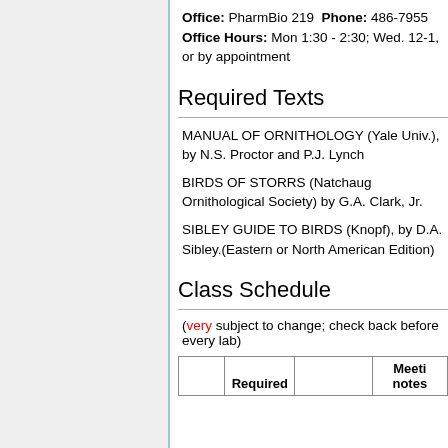Office: PharmBio 219 Phone: 486-7955 Office Hours: Mon 1:30 - 2:30; Wed. 12-1, or by appointment
Required Texts
MANUAL OF ORNITHOLOGY (Yale Univ.), by N.S. Proctor and P.J. Lynch
BIRDS OF STORRS (Natchaug Ornithological Society) by G.A. Clark, Jr.
SIBLEY GUIDE TO BIRDS (Knopf), by D.A. Sibley.(Eastern or North American Edition)
Class Schedule
(very subject to change; check back before every lab)
|  | Required |  | Meeting notes |
| --- | --- | --- | --- |